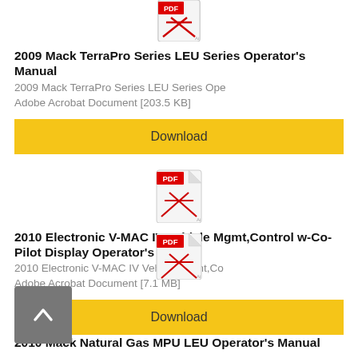[Figure (other): PDF file icon for 2009 Mack TerraPro document (partially cropped at top)]
2009 Mack TerraPro Series LEU Series Operator's Manual
2009 Mack TerraPro Series LEU Series Ope
Adobe Acrobat Document [203.5 KB]
Download
[Figure (other): PDF file icon for 2010 Electronic V-MAC IV document]
2010 Electronic V-MAC IV Vehicle Mgmt,Control w-Co-Pilot Display Operator's Manual
2010 Electronic V-MAC IV Vehicle Mgmt,Co
Adobe Acrobat Document [7.1 MB]
Download
[Figure (other): PDF file icon for 2010 Mack Natural Gas MPU LEU document (partially visible)]
2010 Mack Natural Gas MPU LEU Operator's Manual